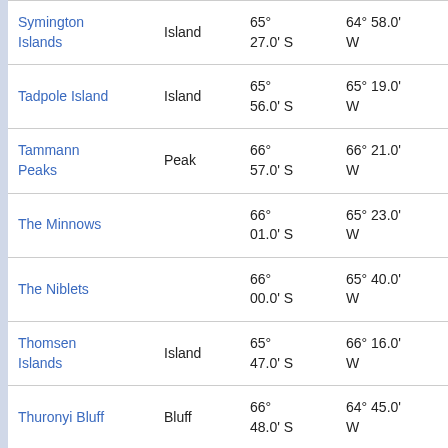| Name | Type | Latitude | Longitude | Elevation |
| --- | --- | --- | --- | --- |
| Symington Islands | Island | 65° 27.0' S | 64° 58.0' W | 68.7 at 2... |
| Tadpole Island | Island | 65° 56.0' S | 65° 19.0' W | 16.8 at 6... |
| Tammann Peaks | Peak | 66° 57.0' S | 66° 21.0' W | 110. at 1... |
| The Minnows |  | 66° 01.0' S | 65° 23.0' W | 12.2 at 9... |
| The Niblets |  | 66° 00.0' S | 65° 40.0' W | 0.8 k 270' |
| Thomsen Islands | Island | 65° 47.0' S | 66° 16.0' W | 36.9 at 3... |
| Thuronyi Bluff | Bluff | 66° 48.0' S | 64° 45.0' W | 97.6 at 1... |
| Trigonia Island | Island | 66° 01.0' S | 65° 41.0' W | 2.4 k 310' |